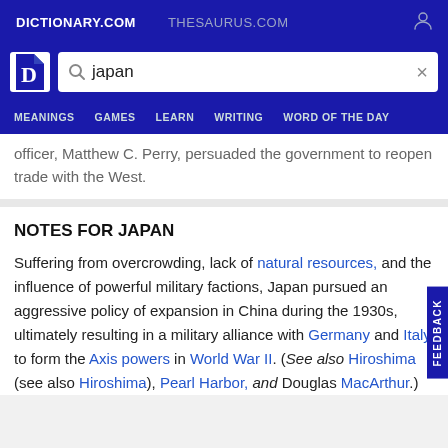DICTIONARY.COM   THESAURUS.COM
japan (search query)
MEANINGS   GAMES   LEARN   WRITING   WORD OF THE DAY
officer, Matthew C. Perry, persuaded the government to reopen trade with the West.
NOTES FOR JAPAN
Suffering from overcrowding, lack of natural resources, and the influence of powerful military factions, Japan pursued an aggressive policy of expansion in China during the 1930s, ultimately resulting in a military alliance with Germany and Italy to form the Axis powers in World War II. (See also Hiroshima (see also Hiroshima), Pearl Harbor, and Douglas MacArthur.)